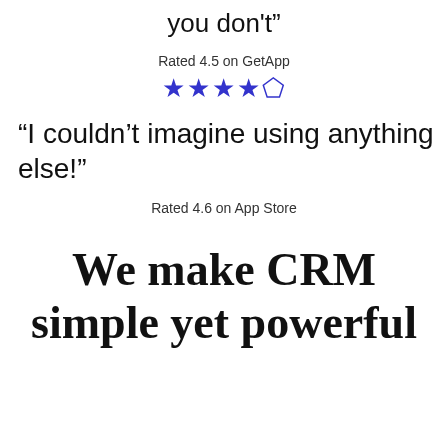you don't"
Rated 4.5 on GetApp
[Figure (other): 4.5 star rating: four full blue stars and one half blue star]
“I couldn’t imagine using anything else!”
Rated 4.6 on App Store
We make CRM simple yet powerful